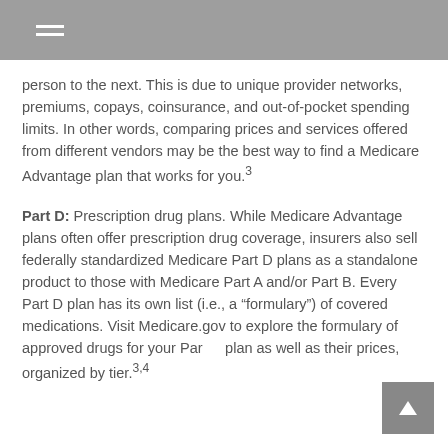person to the next. This is due to unique provider networks, premiums, copays, coinsurance, and out-of-pocket spending limits. In other words, comparing prices and services offered from different vendors may be the best way to find a Medicare Advantage plan that works for you.3
Part D: Prescription drug plans. While Medicare Advantage plans often offer prescription drug coverage, insurers also sell federally standardized Medicare Part D plans as a standalone product to those with Medicare Part A and/or Part B. Every Part D plan has its own list (i.e., a “formulary”) of covered medications. Visit Medicare.gov to explore the formulary of approved drugs for your Part D plan as well as their prices, organized by tier.3,4